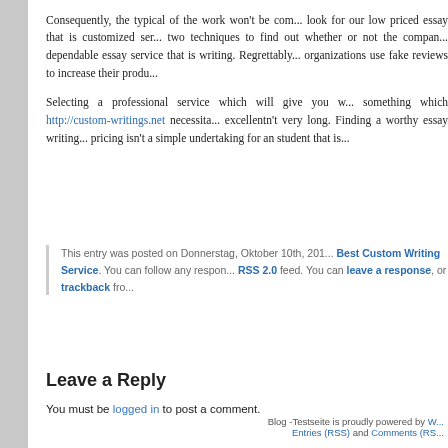Consequently, the typical of the work won't be com... look for our low priced essay that is customized ser... two techniques to find out whether or not the compan... dependable essay service that is writing. Regrettably... organizations use fake reviews to increase their produ...
Selecting a professional service which will give you w... something which http://custom-writings.net necessita... excellentn't very long. Finding a worthy essay writing... pricing isn't a simple undertaking for an student that is...
This entry was posted on Donnerstag, Oktober 10th, 201... Best Custom Writing Service. You can follow any respon... RSS 2.0 feed. You can leave a response, or trackback fro...
Leave a Reply
You must be logged in to post a comment.
Blog -Testseite is proudly powered by W... Entries (RSS) and Comments (RS...